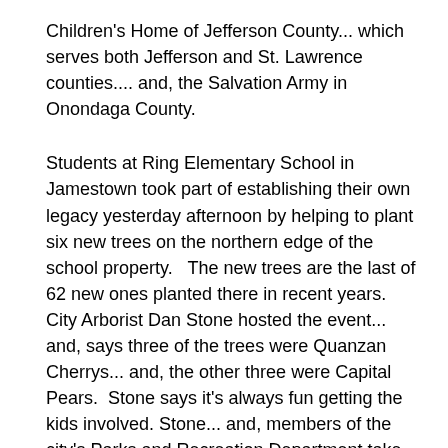Children's Home of Jefferson County... which serves both Jefferson and St. Lawrence counties.... and, the Salvation Army in Onondaga County.
Students at Ring Elementary School in Jamestown took part of establishing their own legacy yesterday afternoon by helping to plant six new trees on the northern edge of the school property.   The new trees are the last of 62 new ones planted there in recent years.  City Arborist Dan Stone hosted the event... and, says three of the trees were Quanzan Cherrys... and, the other three were Capital Pears.  Stone says it's always fun getting the kids involved. Stone... and, members of the city's Parks and Recreation Department take care of the approximately 13-thousand "terrace" trees that are maintained by the city.  Mayor Sam Teresi urged the students to "remember this day..." and, recalled helping to plant a tree when he was a student at Fletcher Elementary School.  He told